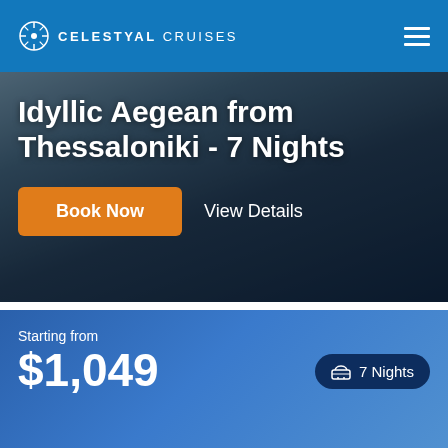CELESTYAL CRUISES
Idyllic Aegean from Thessaloniki - 7 Nights
Book Now
View Details
Starting from
$1,049
7 Nights